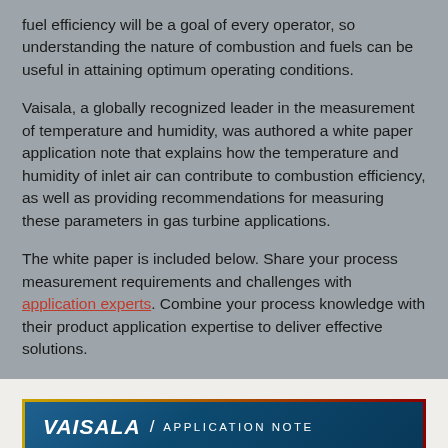fuel efficiency will be a goal of every operator, so understanding the nature of combustion and fuels can be useful in attaining optimum operating conditions.
Vaisala, a globally recognized leader in the measurement of temperature and humidity, was authored a white paper application note that explains how the temperature and humidity of inlet air can contribute to combustion efficiency, as well as providing recommendations for measuring these parameters in gas turbine applications.
The white paper is included below. Share your process measurement requirements and challenges with application experts. Combine your process knowledge with their product application expertise to deliver effective solutions.
[Figure (logo): Vaisala Application Note banner with teal/blue textured background, showing 'VAISALA / APPLICATION NOTE' in white text on a blue bar, with a gold-to-dark-red gradient border on top.]
Optimizing gas turbine performance with